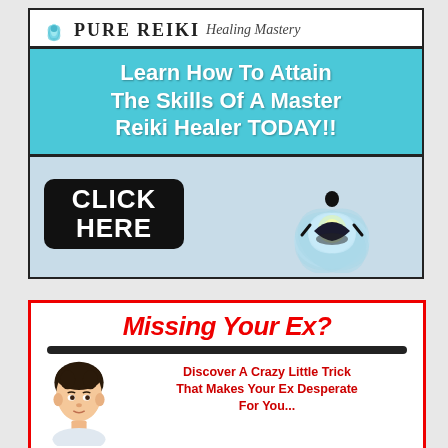[Figure (illustration): Pure Reiki Healing Mastery advertisement banner. Top section shows logo with lotus flower icon and stylized text 'Pure Reiki Healing Mastery'. Blue banner with bold white text reading 'Learn How To Attain The Skills Of A Master Reiki Healer TODAY!!'. Bottom section shows a black 'CLICK HERE' button overlaid on an image of a lotus flower with a meditating figure silhouette.]
[Figure (illustration): Second advertisement with red border. Title 'Missing Your Ex?' in red italic text, thick black underline, then text 'Discover A Crazy Little Trick That Makes Your Ex Desperate For You...' next to a photo of a young man's face.]